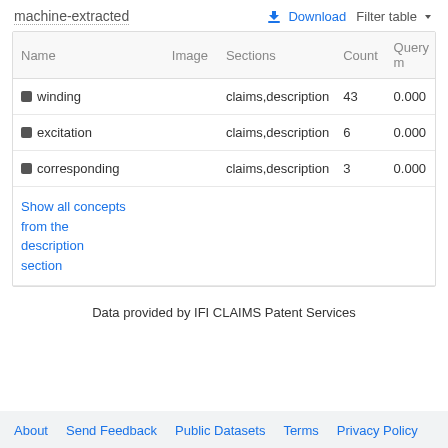machine-extracted
Download   Filter table
| Name | Image | Sections | Count | Query m |
| --- | --- | --- | --- | --- |
| ■ winding |  | claims,description | 43 | 0.000 |
| ■ excitation |  | claims,description | 6 | 0.000 |
| ■ corresponding |  | claims,description | 3 | 0.000 |
Show all concepts from the description section
Data provided by IFI CLAIMS Patent Services
About   Send Feedback   Public Datasets   Terms   Privacy Policy